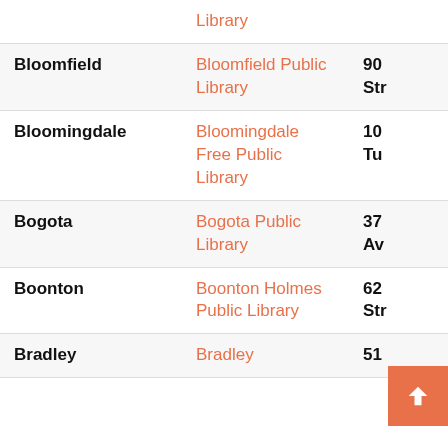| City | Library | Address |
| --- | --- | --- |
|  | Library |  |
| Bloomfield | Bloomfield Public Library | 90 Str |
| Bloomingdale | Bloomingdale Free Public Library | 10 Tu |
| Bogota | Bogota Public Library | 37 Av |
| Boonton | Boonton Holmes Public Library | 62 Str |
| Bradley | Bradley | 51 |